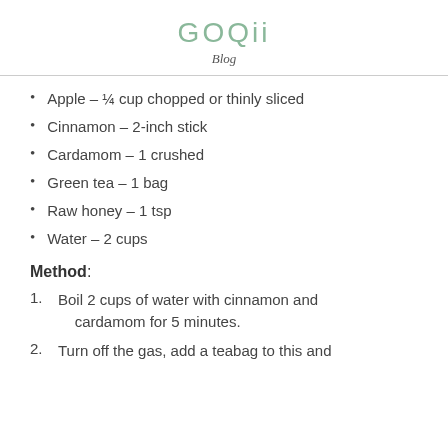GOQii
Blog
Apple – ¼ cup chopped or thinly sliced
Cinnamon – 2-inch stick
Cardamom – 1 crushed
Green tea – 1 bag
Raw honey – 1 tsp
Water – 2 cups
Method:
Boil 2 cups of water with cinnamon and cardamom for 5 minutes.
Turn off the gas, add a teabag to this and